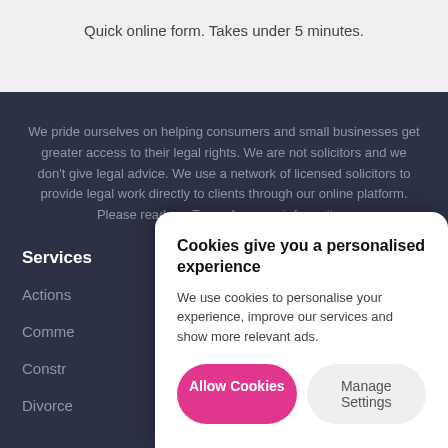Quick online form. Takes under 5 minutes.
We pride ourselves on helping consumers and small businesses get greater access to their legal rights. We are not solicitors and we don't give legal advice. We use a network of licensed solicitors to provide legal work directly to clients through our online platform. Please read our Terms for more information.
Services
Actions
Comme
Constr
Divorce
Cookies give you a personalised experience
We use cookies to personalise your experience, improve our services and show more relevant ads.
Allow Cookies
Manage Settings